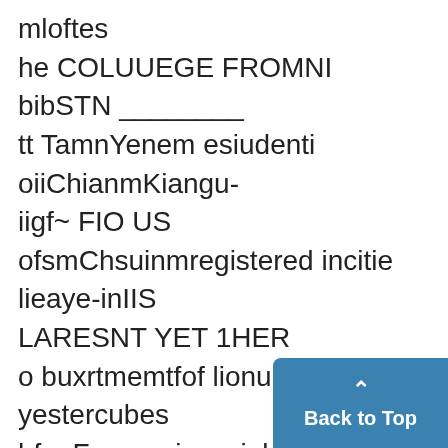mloftes
he COLUUEGE FROMNI bibSTN ________
tt TamnYenem esiudenti oiiChianmKiangu-iigf~ FIO US
ofsmChsuinmregistered incitie lieaye-inIIS LARESNT YET 1HER
o buxrtmemtfof lionumniesiy yestercubes
hfm F mnng ispeciabizuing munmdein
"ifItesuhiabeumerinof the seni
r ang~uages, hkingac ouse laingtos"
cantidatiesfcuminadiin tmskeip up thou
mumN h uhgmen -in Taingnemmit ft cit
eviviiris lihe inrad iicting class n
conumntryferoms Japatmn tx-
[Figure (other): Back to Top button with upward caret arrow, blue rounded rectangle in bottom-right corner]